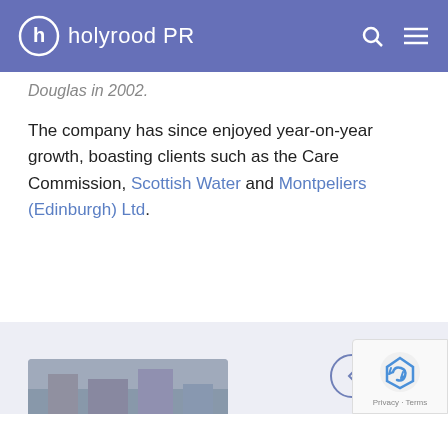holyrood PR
Douglas in 2002.
The company has since enjoyed year-on-year growth, boasting clients such as the Care Commission, Scottish Water and Montpeliers (Edinburgh) Ltd.
Related Posts
[Figure (photo): Partial image visible at bottom of page, appears to be a building or street scene in grey tones]